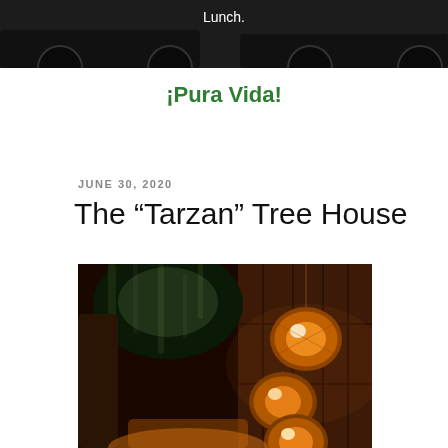[Figure (photo): Dark photo showing a car partially visible, with the word 'Lunch.' centered in white text]
¡Pura Vida!
JUNE 30, 2020
The “Tarzan” Tree House
[Figure (photo): Interior of a rustic wooden tree house with hanging wicker globe pendant lights glowing orange/amber, dark wood walls and ceiling, with vines and greenery visible through an opening]